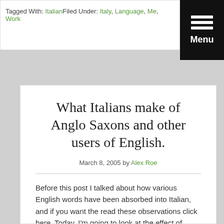Tagged With: ItalianFiled Under: Italy, Language, Me, Work
[Figure (other): Black menu button with three horizontal white lines and the label 'Menu']
What Italians make of Anglo Saxons and other users of English.
March 8, 2005 by Alex Roe
Before this post I talked about how various English words have been absorbed into Italian, and if you want the read these observations click here. Today, I'm going to look at the effect of …
[Read more...]